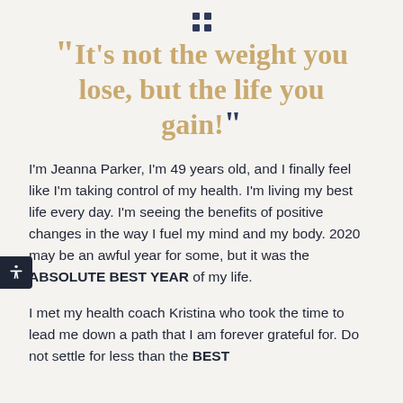[Figure (illustration): Small grid of four dark square dots arranged 2x2, used as a decorative divider icon]
“It’s not the weight you lose, but the life you gain!”
I’m Jeanna Parker, I’m 49 years old, and I finally feel like I’m taking control of my health. I’m living my best life every day. I’m seeing the benefits of positive changes in the way I fuel my mind and my body. 2020 may be an awful year for some, but it was the ABSOLUTE BEST YEAR of my life.
I met my health coach Kristina who took the time to lead me down a path that I am forever grateful for. Do not settle for less than the BEST